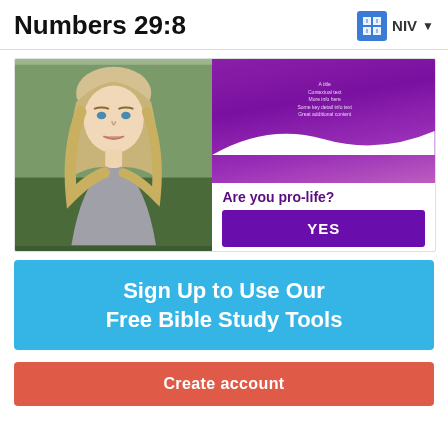Numbers 29:8  NIV
[Figure (photo): Advertisement banner showing a young blonde woman on the left side, and a purple gradient background on the right with text 'Are you pro-life?' and a purple YES button]
[Figure (infographic): Blue banner with white text: 'Sign Up to Use Our Free Bible Study Tools']
[Figure (infographic): Red/coral button labeled 'Create account']